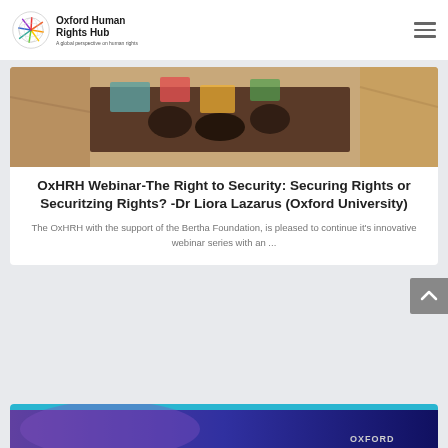Oxford Human Rights Hub — A global perspective on human rights
[Figure (photo): Close-up photograph of hands, appearing to be in an outdoor arid environment, with colorful fabric visible.]
OxHRH Webinar-The Right to Security: Securing Rights or Securitzing Rights? -Dr Liora Lazarus (Oxford University)
The OxHRH with the support of the Bertha Foundation, is pleased to continue it's innovative webinar series with an ...
[Figure (photo): Partial view of a second card with a dark blue/purple gradient background and Oxford logo text visible in bottom right.]